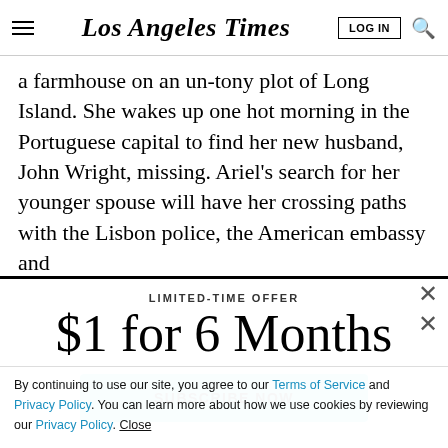Los Angeles Times
a farmhouse on an un-tony plot of Long Island. She wakes up one hot morning in the Portuguese capital to find her new husband, John Wright, missing. Ariel's search for her younger spouse will have her crossing paths with the Lisbon police, the American embassy and
LIMITED-TIME OFFER
$1 for 6 Months
SUBSCRIBE NOW
By continuing to use our site, you agree to our Terms of Service and Privacy Policy. You can learn more about how we use cookies by reviewing our Privacy Policy. Close
Season 3 of The Times entertainment podcast is here